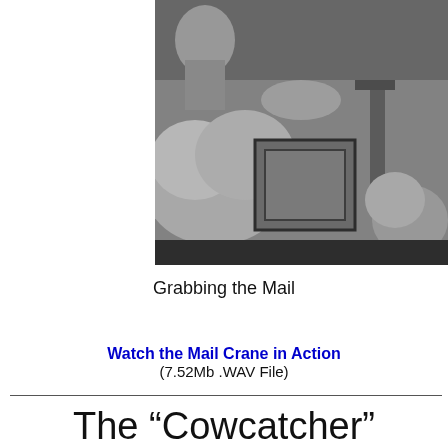[Figure (photo): Black and white historical illustration showing a mail crane in action, grabbing mail from a train. The scene depicts woolly sheep-like figures and mechanical equipment on a train platform.]
Grabbing the Mail
Watch the Mail Crane in Action
(7.52Mb .WAV File)
The “Cowcatcher”